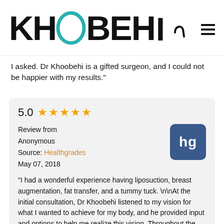[Figure (logo): Khoobehi logo with teal ring between letters and phone icon, plus hamburger menu icon]
I asked. Dr Khoobehi is a gifted surgeon, and I could not be happier with my results."
5.0 ★★★★★
Review from
Anonymous
Source: Healthgrades
May 07, 2018

"I had a wonderful experience having liposuction, breast augmentation, fat transfer, and a tummy tuck. \n\nAt the initial consultation, Dr Khoobehi listened to my vision for what I wanted to achieve for my body, and he provided input and options to help me realize this vision. Throughout the process, he and his staff were kind and attentive to my needs, answering questions via email or phone for anything